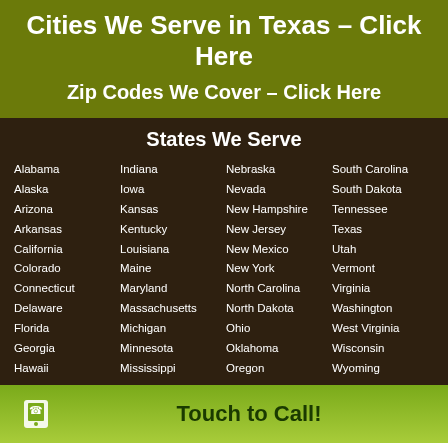Cities We Serve in Texas – Click Here
Zip Codes We Cover – Click Here
States We Serve
Alabama
Alaska
Arizona
Arkansas
California
Colorado
Connecticut
Delaware
Florida
Georgia
Hawaii
Indiana
Iowa
Kansas
Kentucky
Louisiana
Maine
Maryland
Massachusetts
Michigan
Minnesota
Mississippi
Nebraska
Nevada
New Hampshire
New Jersey
New Mexico
New York
North Carolina
North Dakota
Ohio
Oklahoma
Oregon
South Carolina
South Dakota
Tennessee
Texas
Utah
Vermont
Virginia
Washington
West Virginia
Wisconsin
Wyoming
Touch to Call!